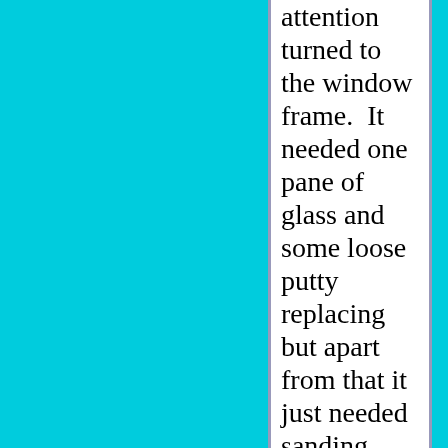attention turned to the window frame.  It needed one pane of glass and some loose putty replacing but apart from that it just needed sanding down and undercoating along with the cladding.  It was then time for the paint job that I...